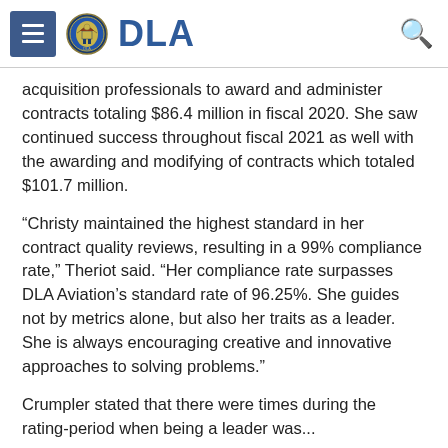DLA
acquisition professionals to award and administer contracts totaling $86.4 million in fiscal 2020. She saw continued success throughout fiscal 2021 as well with the awarding and modifying of contracts which totaled $101.7 million.
“Christy maintained the highest standard in her contract quality reviews, resulting in a 99% compliance rate,” Theriot said. “Her compliance rate surpasses DLA Aviation’s standard rate of 96.25%. She guides not by metrics alone, but also her traits as a leader. She is always encouraging creative and innovative approaches to solving problems.”
Crumpler stated that there were times during the rating-period when being a leader was...